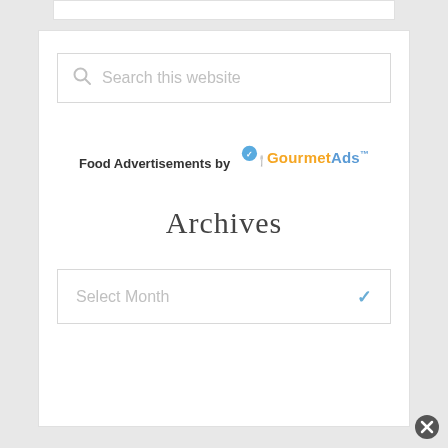[Figure (screenshot): Search box with magnifying glass icon and placeholder text 'Search this website']
Food Advertisements by GourmetAds™
Archives
[Figure (screenshot): Dropdown select box with placeholder 'Select Month' and a chevron arrow on the right]